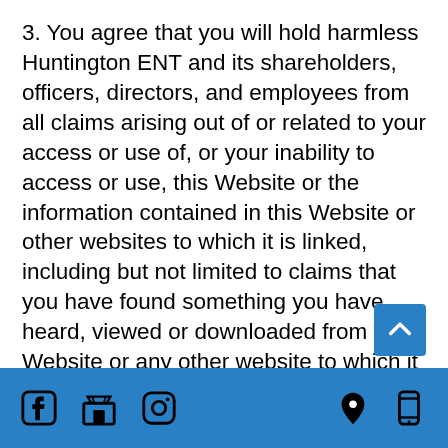3. You agree that you will hold harmless Huntington ENT and its shareholders, officers, directors, and employees from all claims arising out of or related to your access or use of, or your inability to access or use, this Website or the information contained in this Website or other websites to which it is linked, including but not limited to claims that you have found something you have heard, viewed or downloaded from this Website or any other website to which it is linked to be obscene, offensive, defamatory, or infringing upon your intellectual property rights. In no event will Huntington ENT or any of the information contributors to the Website be liable to you or anyone else for any decision made or action
Social media icons (Facebook, shop, Instagram) on left; location and mobile icons on right